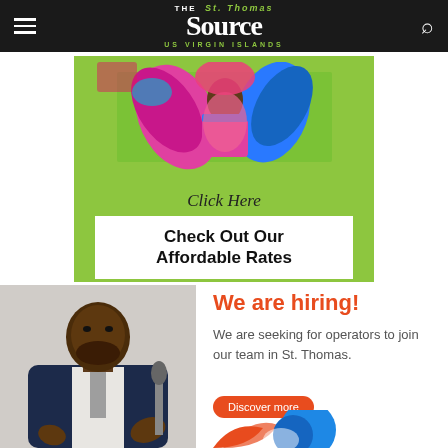The St. Thomas Source — US Virgin Islands
[Figure (illustration): Carnival dancer in colorful pink and blue feathered costume on a green background with 'Click Here' text and 'Check Out Our Affordable Rates' white box — advertisement banner]
[Figure (photo): Black man in navy blazer gesturing while speaking, professional headshot-style photo]
We are hiring!
We are seeking for operators to join our team in St. Thomas.
Discover more
[Figure (logo): Partial red and blue logo visible at bottom right]